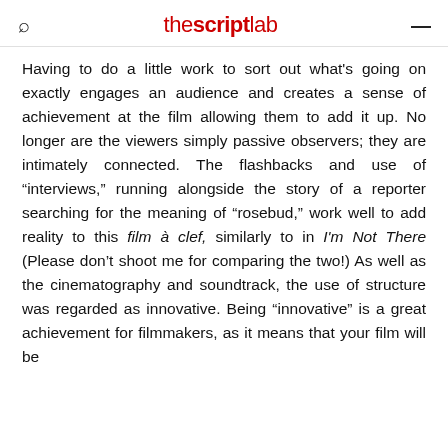thescriptlab
Having to do a little work to sort out what's going on exactly engages an audience and creates a sense of achievement at the film allowing them to add it up. No longer are the viewers simply passive observers; they are intimately connected. The flashbacks and use of "interviews," running alongside the story of a reporter searching for the meaning of "rosebud," work well to add reality to this film à clef, similarly to in I'm Not There (Please don't shoot me for comparing the two!) As well as the cinematography and soundtrack, the use of structure was regarded as innovative. Being "innovative" is a great achievement for filmmakers, as it means that your film will be